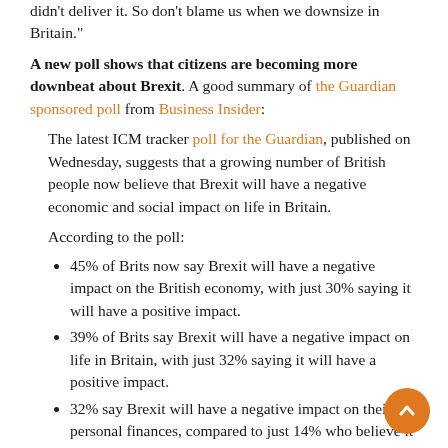didn't deliver it. So don't blame us when we downsize in Britain."
A new poll shows that citizens are becoming more downbeat about Brexit. A good summary of the Guardian sponsored poll from Business Insider:
The latest ICM tracker poll for the Guardian, published on Wednesday, suggests that a growing number of British people now believe that Brexit will have a negative economic and social impact on life in Britain.
According to the poll:
45% of Brits now say Brexit will have a negative impact on the British economy, with just 30% saying it will have a positive impact.
39% of Brits say Brexit will have a negative impact on life in Britain, with just 32% saying it will have a positive impact.
32% say Brexit will have a negative impact on their personal finances, compared to just 14% who believe it will have a positive impact.
The findings are the most negative ICM have found since the last tracking poll in opinions on Brexit in the EU...